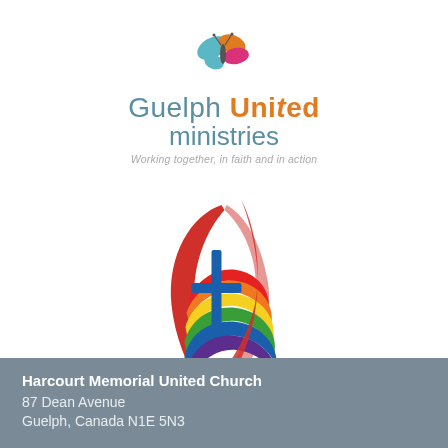[Figure (logo): Guelph United Ministries logo with butterfly icon (teal, orange, pink petals) and text 'Guelph United ministries' with tagline 'Working together, in faith and in action']
[Figure (logo): United Church of Canada logo with rainbow-colored flame/cross emblem and red swoosh]
Harcourt Memorial United Church
87 Dean Avenue
Guelph, Canada N1E 5N3